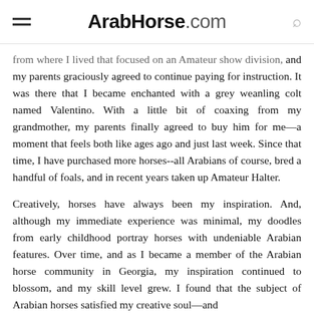ArabHorse.com
from where I lived that focused on an Amateur show division, and my parents graciously agreed to continue paying for instruction. It was there that I became enchanted with a grey weanling colt named Valentino. With a little bit of coaxing from my grandmother, my parents finally agreed to buy him for me—a moment that feels both like ages ago and just last week. Since that time, I have purchased more horses--all Arabians of course, bred a handful of foals, and in recent years taken up Amateur Halter.
Creatively, horses have always been my inspiration. And, although my immediate experience was minimal, my doodles from early childhood portray horses with undeniable Arabian features. Over time, and as I became a member of the Arabian horse community in Georgia, my inspiration continued to blossom, and my skill level grew. I found that the subject of Arabian horses satisfied my creative soul—and